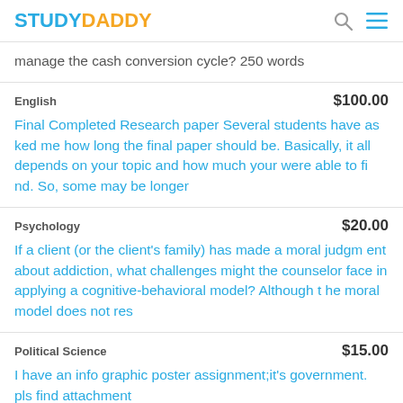STUDYDADDY
manage the cash conversion cycle? 250 words
English  $100.00
Final Completed Research paper Several students have asked me how long the final paper should be. Basically, it all depends on your topic and how much your were able to find. So, some may be longer
Psychology  $20.00
If a client (or the client's family) has made a moral judgment about addiction, what challenges might the counselor face in applying a cognitive-behavioral model? Although the moral model does not res
Political Science  $15.00
I have an info graphic poster assignment;it's government. pls find attachment